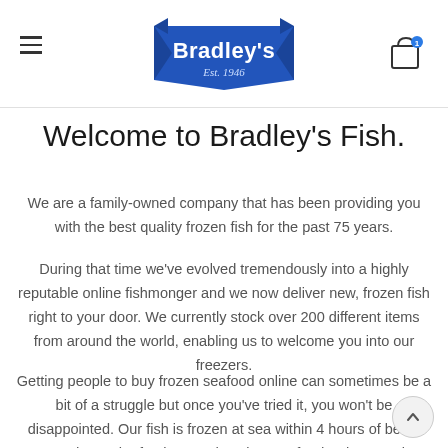Bradley's Est. 1946 (logo) — hamburger menu and cart icon
Welcome to Bradley's Fish.
We are a family-owned company that has been providing you with the best quality frozen fish for the past 75 years.
During that time we've evolved tremendously into a highly reputable online fishmonger and we now deliver new, frozen fish right to your door. We currently stock over 200 different items from around the world, enabling us to welcome you into our freezers.
Getting people to buy frozen seafood online can sometimes be a bit of a struggle but once you've tried it, you won't be disappointed. Our fish is frozen at sea within 4 hours of being captured, ens the freshest and tastiest seafood. When you buy frozen seafood, it